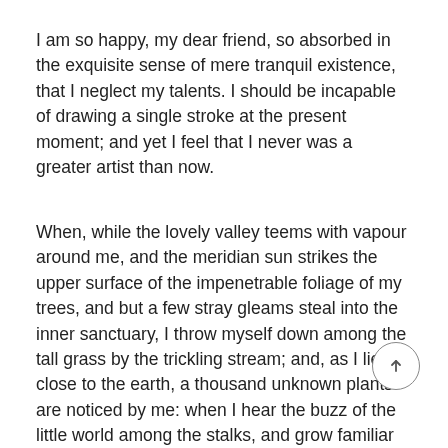I am so happy, my dear friend, so absorbed in the exquisite sense of mere tranquil existence, that I neglect my talents. I should be incapable of drawing a single stroke at the present moment; and yet I feel that I never was a greater artist than now.
When, while the lovely valley teems with vapour around me, and the meridian sun strikes the upper surface of the impenetrable foliage of my trees, and but a few stray gleams steal into the inner sanctuary, I throw myself down among the tall grass by the trickling stream; and, as I lie close to the earth, a thousand unknown plants are noticed by me: when I hear the buzz of the little world among the stalks, and grow familiar with the countless indescribable forms of the insects and flies, then I feel the presence of the Almighty, who